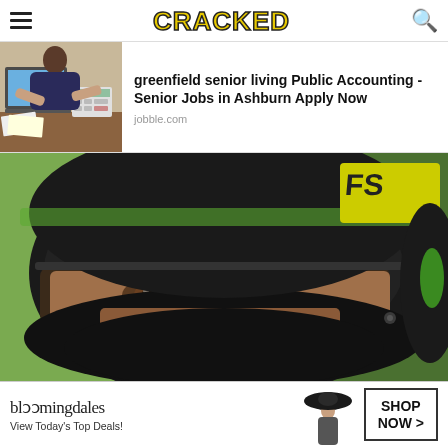CRACKED
[Figure (photo): Ad unit: person at desk with laptop and calculator (accounting/jobs ad). Text: greenfield senior living Public Accounting - Senior Jobs in Ashburn Apply Now. Source: jobble.com]
greenfield senior living Public Accounting - Senior Jobs in Ashburn Apply Now
jobble.com
[Figure (photo): Close-up photo of a Formula 1 driver wearing a black and green/yellow racing helmet, eyes visible through visor opening, green blurred background. Yellow sponsor logo patch visible on upper right of helmet.]
[Figure (photo): Bloomingdale's banner advertisement: 'bloomingdales View Today's Top Deals!' with woman in wide-brim hat and 'SHOP NOW >' button.]